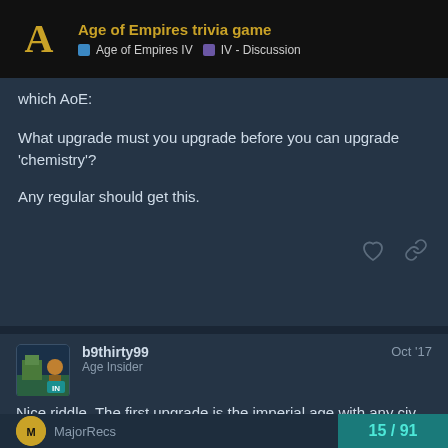Age of Empires trivia game | Age of Empires IV | IV - Discussion
which AoE:

What upgrade must you upgrade before you can upgrade 'chemistry'?

Any regular should get this.
b9thirty99
Age Insider
Oct '17
Nice riddle. The first upgrade is the imperial age with any civ, then another upgrade, chemistry, will be unlocked in the university.
15 / 91
MajorRecs